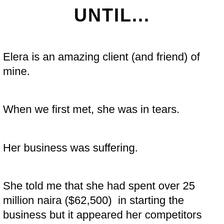UNTIL...
Elera is an amazing client (and friend) of mine.
When we first met, she was in tears.
Her business was suffering.
She told me that she had spent over 25 million naira ($62,500)  in starting the business but it appeared her competitors were using 'juju' on